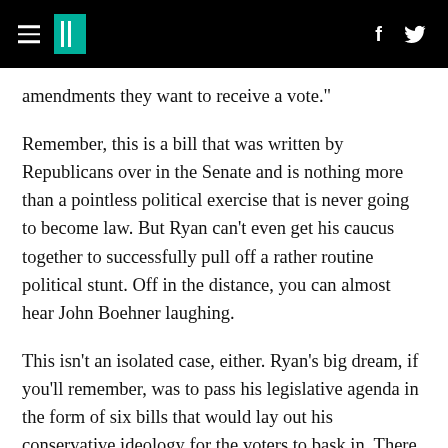HuffPost header bar with hamburger menu, logo, Facebook and Twitter icons
amendments they want to receive a vote."
Remember, this is a bill that was written by Republicans over in the Senate and is nothing more than a pointless political exercise that is never going to become law. But Ryan can't even get his caucus together to successfully pull off a rather routine political stunt. Off in the distance, you can almost hear John Boehner laughing.
This isn't an isolated case, either. Ryan's big dream, if you'll remember, was to pass his legislative agenda in the form of six bills that would lay out his conservative ideology for the voters to bask in. There is nothing new in any of